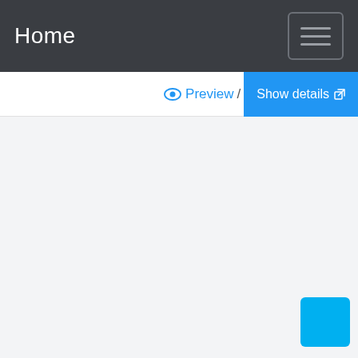Home
Preview / Show details
[Figure (screenshot): Empty light grey content area with a cyan floating action button in the bottom right corner]